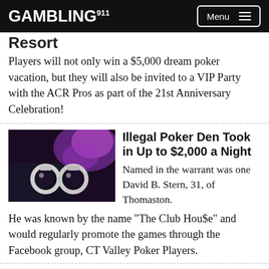GAMBLING911 | Menu
Resort
Players will not only win a $5,000 dream poker vacation, but they will also be invited to a VIP Party with the ACR Pros as part of the 21st Anniversary Celebration!
[Figure (photo): Photo of handcuffs with purple police lights in background]
Illegal Poker Den Took in Up to $2,000 a Night
Named in the warrant was one David B. Stern, 31, of Thomaston.  He was known by the name "The Club Hou$e" and would regularly promote the games through the Facebook group, CT Valley Poker Players.
[Figure (photo): Photo of Mike Matusow holding a sign that reads MIKE MATUSOW]
Mike Matusow Wants to do a